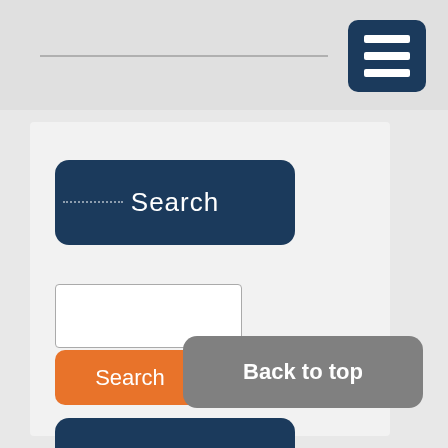[Figure (screenshot): Website navigation header with a horizontal line and a dark navy hamburger menu button (three white bars) in the top right corner]
[Figure (screenshot): Dark navy rounded button labeled 'Search' with dotted border indicator on the left]
[Figure (screenshot): White text input field for search]
[Figure (screenshot): Orange rounded button labeled 'Search']
[Figure (screenshot): Dark navy rounded button labeled 'More Posts' with dotted border indicator on the left]
[Figure (screenshot): Gray rounded button labeled 'Back to top' in the bottom right]